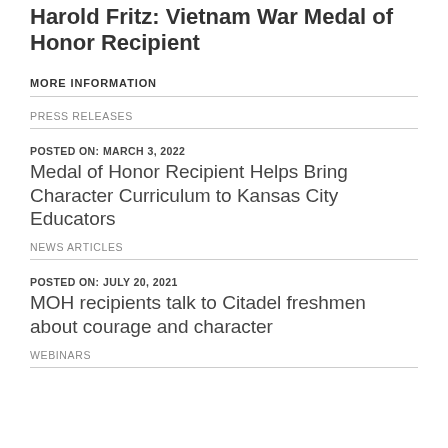Harold Fritz: Vietnam War Medal of Honor Recipient
MORE INFORMATION
PRESS RELEASES
POSTED ON: MARCH 3, 2022
Medal of Honor Recipient Helps Bring Character Curriculum to Kansas City Educators
NEWS ARTICLES
POSTED ON: JULY 20, 2021
MOH recipients talk to Citadel freshmen about courage and character
WEBINARS